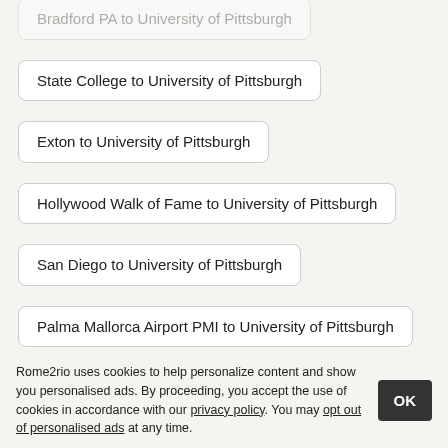State College to University of Pittsburgh
Exton to University of Pittsburgh
Hollywood Walk of Fame to University of Pittsburgh
San Diego to University of Pittsburgh
Palma Mallorca Airport PMI to University of Pittsburgh
Jaipur to University of Pittsburgh
Farrer Park MRT Station to University of Pittsburgh
Oberlin to University of Pittsburgh
Shanghai Disneyland Park to University of Pittsburgh
Rome2rio uses cookies to help personalize content and show you personalised ads. By proceeding, you accept the use of cookies in accordance with our privacy policy. You may opt out of personalised ads at any time.